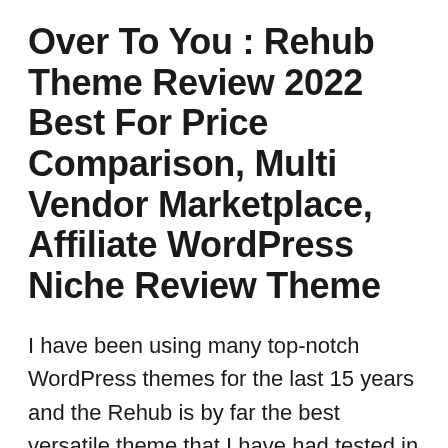Over To You : Rehub Theme Review 2022 Best For Price Comparison, Multi Vendor Marketplace, Affiliate WordPress Niche Review Theme
I have been using many top-notch WordPress themes for the last 15 years and the Rehub is by far the best versatile theme that I have had tested in recent times! It's a super-fast well-coded theme that I get 99% page speed (sometimes 100 scores) for mobile and desktop. But even more importantly, Sizam offers really helpful